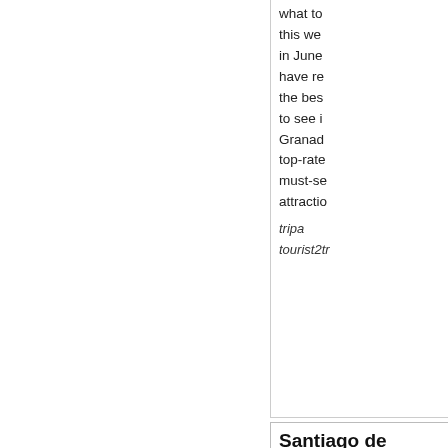what to this week in June have re the bes to see i Granad top-rate must-se attractio
tripa
tourist2tr
[Figure (illustration): Gold number 2 medal/badge with laurel wreath on dark circular background]
Santiago de Compostela
Santiag